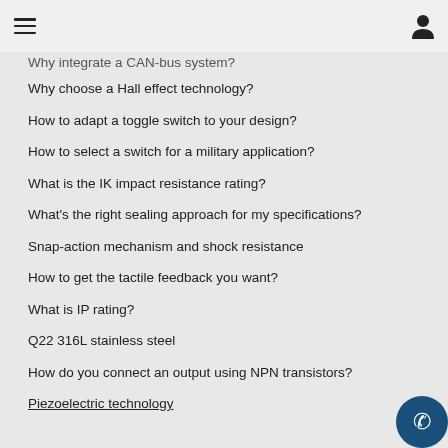Navigation menu header with hamburger and user icon
Why integrate a CAN-bus system?
Why choose a Hall effect technology?
How to adapt a toggle switch to your design?
How to select a switch for a military application?
What is the IK impact resistance rating?
What's the right sealing approach for my specifications?
Snap-action mechanism and shock resistance
How to get the tactile feedback you want?
What is IP rating?
Q22 316L stainless steel
How do you connect an output using NPN transistors?
Piezoelectric technology